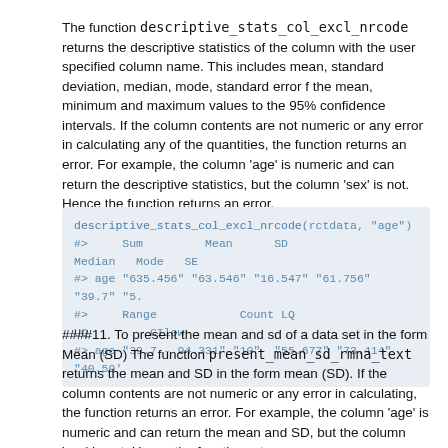The function descriptive_stats_col_excl_nrcode returns the descriptive statistics of the column with the user specified column name. This includes mean, standard deviation, median, mode, standard error f the mean, minimum and maximum values to the 95% confidence intervals. If the column contents are not numeric or any error in calculating any of the quantities, the function returns an error. For example, the column 'age' is numeric and can return the descriptive statistics, but the column 'sex' is not. Hence the function returns an error.
[Figure (screenshot): Code block showing: descriptive_stats_col_excl_nrcode(rctdata, "age") with output lines showing Sum, Mean, SD, Median, Mode, SE and Range, Count, LQ, UQ, CIlow values for age column]
####11. To present the mean and sd of a data set in the form Mean (SD) The function present_mean_sd_rmna_text returns the mean and SD in the form mean (SD). If the column contents are not numeric or any error in calculating, the function returns an error. For example, the column 'age' is numeric and can return the mean and SD, but the column 'sex' is not. Hence the function returns an error.